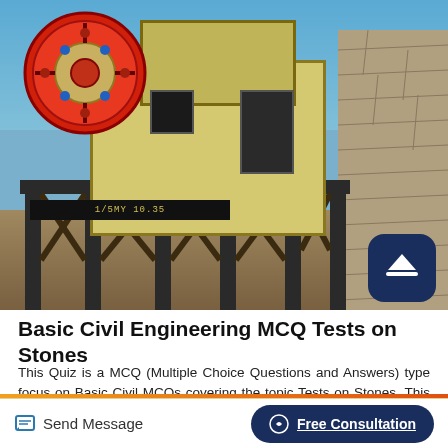[Figure (photo): Photograph of a jaw crusher / stone crushing machine mounted on steel support legs, with a circular flywheel visible on the left side. A stone wall is on the right. A dark info bar near the bottom shows text. Blue scroll-to-top button overlaid at bottom-right.]
Basic Civil Engineering MCQ Tests on Stones
This Quiz is a MCQ (Multiple Choice Questions and Answers) type focus on Basic Civil MCQs covering the topic Tests on Stones .This is chosen from most authorized and best reference books on Civil Engineering.This MCQs help in various competitive exam like GATE, PSU, MAKAUT EXAM, IIT EXAM etc. The answers to the
Send Message
Free Consultation